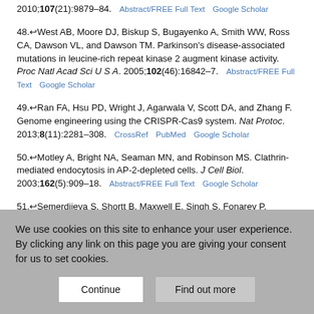2010;107(21):9879–84. Abstract/FREE Full Text Google Scholar
48. West AB, Moore DJ, Biskup S, Bugayenko A, Smith WW, Ross CA, Dawson VL, and Dawson TM. Parkinson's disease-associated mutations in leucine-rich repeat kinase 2 augment kinase activity. Proc Natl Acad Sci U S A. 2005;102(46):16842–7. Abstract/FREE Full Text Google Scholar
49. Ran FA, Hsu PD, Wright J, Agarwala V, Scott DA, and Zhang F. Genome engineering using the CRISPR-Cas9 system. Nat Protoc. 2013;8(11):2281–308. CrossRef PubMed Google Scholar
50. Motley A, Bright NA, Seaman MN, and Robinson MS. Clathrin-mediated endocytosis in AP-2-depleted cells. J Cell Biol. 2003;162(5):909–18. Abstract/FREE Full Text Google Scholar
51. Semerdjieva S, Shortt B, Maxwell E, Singh S, Fonarev P, Hansen J, Schiavo G, Grant BD, and Smythe E. Coordinated regulation of AP2
We use cookies on this site to enhance your user experience. By clicking any link on this page you are giving your consent for us to set cookies.